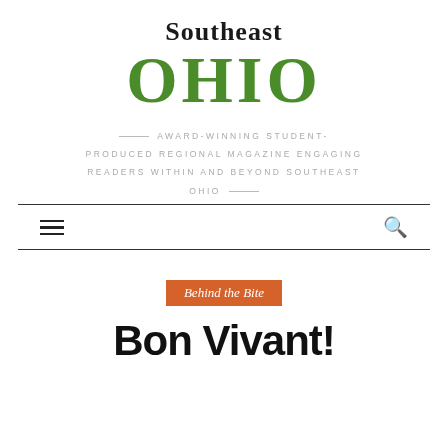[Figure (logo): Southeast Ohio magazine logo with 'Southeast' in black serif and 'OHIO' in large green serif text]
AWARD-WINNING STUDENT-PRODUCED REGIONAL MAGAZINE ENGAGING READERS WITHIN AND BEYOND SOUTHEAST OHIO
[Figure (other): Navigation bar with hamburger menu icon on left and search icon on right]
Behind the Bite
Bon Vivant!